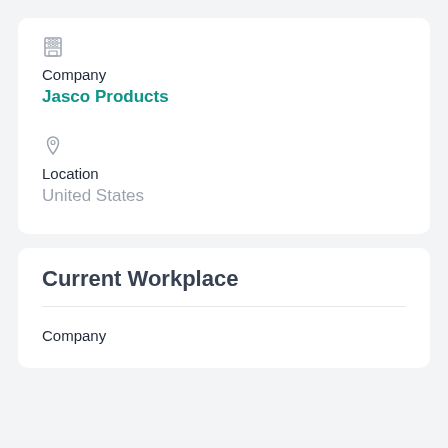Company
Jasco Products
Location
United States
Current Workplace
Company